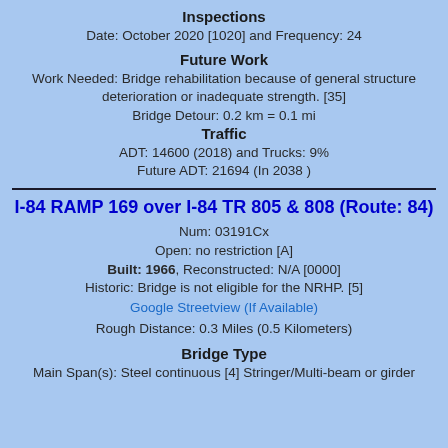Inspections
Date: October 2020 [1020] and Frequency: 24
Future Work
Work Needed: Bridge rehabilitation because of general structure deterioration or inadequate strength. [35]
Bridge Detour: 0.2 km = 0.1 mi
Traffic
ADT: 14600 (2018) and Trucks: 9%
Future ADT: 21694 (In 2038 )
I-84 RAMP 169 over I-84 TR 805 & 808 (Route: 84)
Num: 03191Cx
Open: no restriction [A]
Built: 1966, Reconstructed: N/A [0000]
Historic: Bridge is not eligible for the NRHP. [5]
Google Streetview (If Available)
Rough Distance: 0.3 Miles (0.5 Kilometers)
Bridge Type
Main Span(s): Steel continuous [4] Stringer/Multi-beam or girder